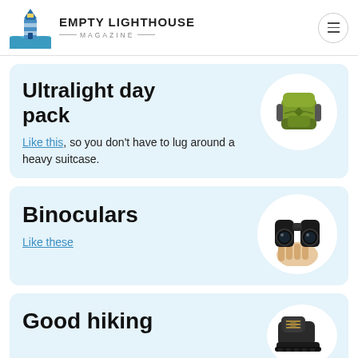EMPTY LIGHTHOUSE MAGAZINE
Ultralight day pack
Like this, so you don't have to lug around a heavy suitcase.
[Figure (photo): Green and grey ultralight day backpack in circular white frame]
Binoculars
Like these
[Figure (photo): Hand holding black compact binoculars in circular white frame]
Good hiking